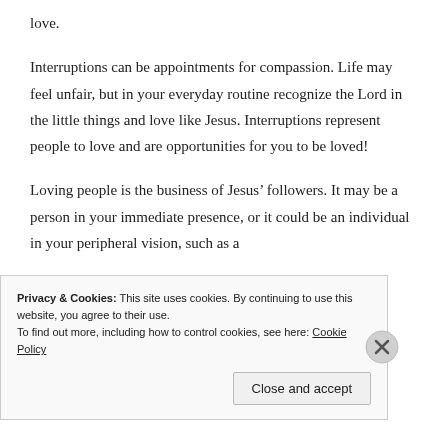love.
Interruptions can be appointments for compassion. Life may feel unfair, but in your everyday routine recognize the Lord in the little things and love like Jesus. Interruptions represent people to love and are opportunities for you to be loved!
Loving people is the business of Jesus’ followers. It may be a person in your immediate presence, or it could be an individual in your peripheral vision, such as a
Privacy & Cookies: This site uses cookies. By continuing to use this website, you agree to their use.
To find out more, including how to control cookies, see here: Cookie Policy
Close and accept